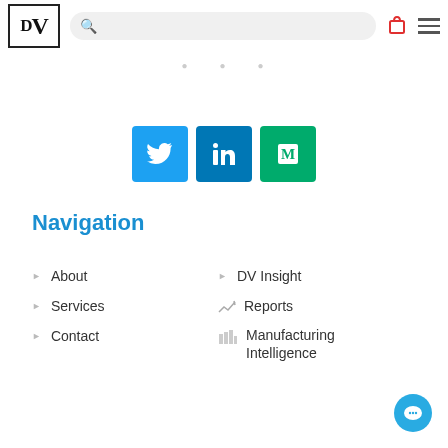DV [logo with search bar, bag icon, menu icon]
· · · · · · ·
[Figure (illustration): Three social media buttons: Twitter (blue), LinkedIn (dark blue), Medium (green)]
Navigation
About
Services
Contact
DV Insight
Reports
Manufacturing Intelligence